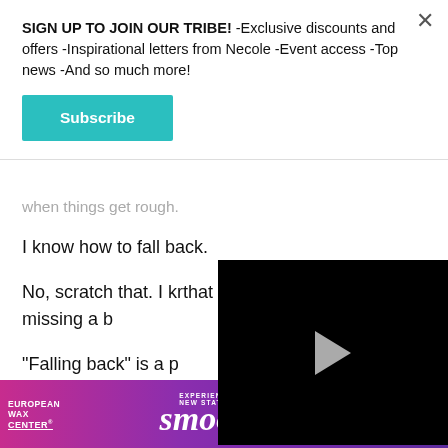SIGN UP TO JOIN OUR TRIBE! -Exclusive discounts and offers -Inspirational letters from Necole -Event access -Top news -And so much more!
Subscribe
when things get rough.
I know how to fall back.
No, scratch that. I kr... that I can fall on the... without missing a b...
"Falling back" is a p...
[Figure (screenshot): Black video player with a triangular white play button in the center]
[Figure (infographic): European Wax Center advertisement banner with purple/magenta gradient background. Text reads: EUROPEAN WAX CENTER - EXPERIENCE A NEW STATE OF smooth - FIRST WAX free BOOK NOW]